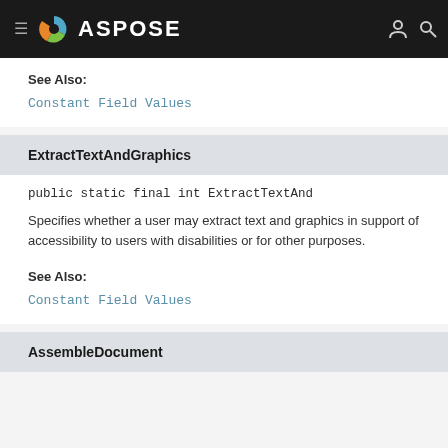ASPOSE
See Also:
Constant Field Values
ExtractTextAndGraphics
public static final int ExtractTextAnd…
Specifies whether a user may extract text and graphics in support of accessibility to users with disabilities or for other purposes.
See Also:
Constant Field Values
AssembleDocument